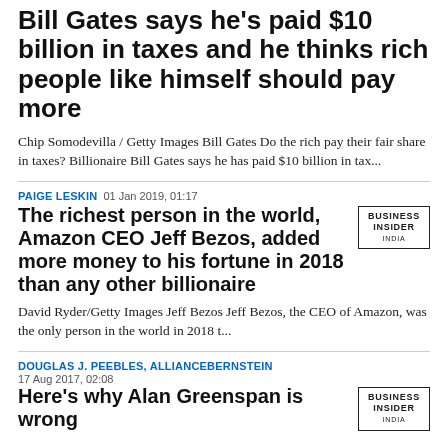Bill Gates says he's paid $10 billion in taxes and he thinks rich people like himself should pay more
Chip Somodevilla / Getty Images Bill Gates Do the rich pay their fair share in taxes? Billionaire Bill Gates says he has paid $10 billion in tax...
PAIGE LESKIN 01 Jan 2019, 01:17
The richest person in the world, Amazon CEO Jeff Bezos, added more money to his fortune in 2018 than any other billionaire
David Ryder/Getty Images Jeff Bezos Jeff Bezos, the CEO of Amazon, was the only person in the world in 2018 t...
DOUGLAS J. PEEBLES, ALLIANCEBERNSTEIN
17 Aug 2017, 02:08
Here's why Alan Greenspan is wrong